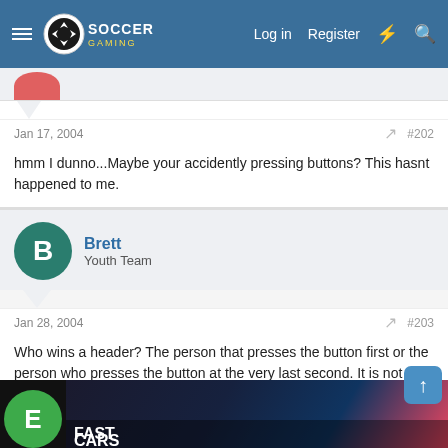Soccer Gaming — Log in  Register
Jan 17, 2004  #202
hmm I dunno...Maybe your accidently pressing buttons? This hasnt happened to me.
Brett
Youth Team
Jan 28, 2004  #203
Who wins a header? The person that presses the button first or the person who presses the button at the very last second. It is not consistent when I do it. Sometimes I am better off pressing the header button right away sometimes not.
Please help if you know 😊 .